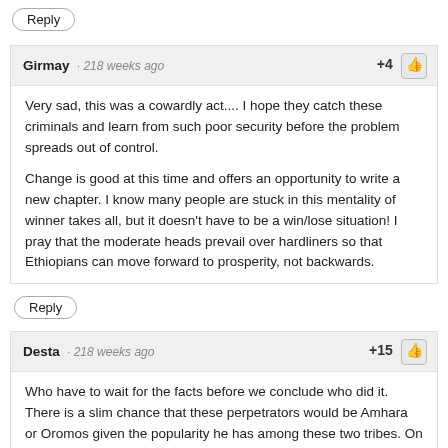Reply
Girmay · 218 weeks ago · +4
Very sad, this was a cowardly act.... I hope they catch these criminals and learn from such poor security before the problem spreads out of control.
Change is good at this time and offers an opportunity to write a new chapter. I know many people are stuck in this mentality of winner takes all, but it doesn't have to be a win/lose situation! I pray that the moderate heads prevail over hardliners so that Ethiopians can move forward to prosperity, not backwards.
Reply
Desta · 218 weeks ago · +15
Who have to wait for the facts before we conclude who did it. There is a slim chance that these perpetrators would be Amhara or Oromos given the popularity he has among these two tribes. On the other hand, if we look at which tribe is losing gripe to power because of his reform and are persistently working against him, the answer is obvious.It is those who call him fake, who were saying he will be dead on arrival even before he was nominated .